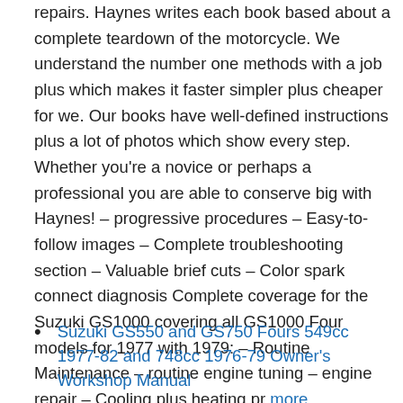repairs. Haynes writes each book based about a complete teardown of the motorcycle. We understand the number one methods with a job plus which makes it faster simpler plus cheaper for we. Our books have well-defined instructions plus a lot of photos which show every step. Whether you're a novice or perhaps a professional you are able to conserve big with Haynes! – progressive procedures – Easy-to-follow images – Complete troubleshooting section – Valuable brief cuts – Color spark connect diagnosis Complete coverage for the Suzuki GS1000 covering all GS1000 Four models for 1977 with 1979: – Routine Maintenance – routine engine tuning – engine repair – Cooling plus heating pr more information…..
Suzuki GS550 and GS750 Fours 549cc 1977-82 and 748cc 1976-79 Owner's Workshop Manual